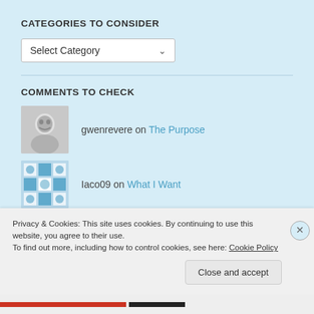CATEGORIES TO CONSIDER
Select Category
COMMENTS TO CHECK
gwenrevere on The Purpose
Iaco09 on What I Want
Arthur on Great-Great Grandpa Alfred
Privacy & Cookies: This site uses cookies. By continuing to use this website, you agree to their use.
To find out more, including how to control cookies, see here: Cookie Policy
Close and accept